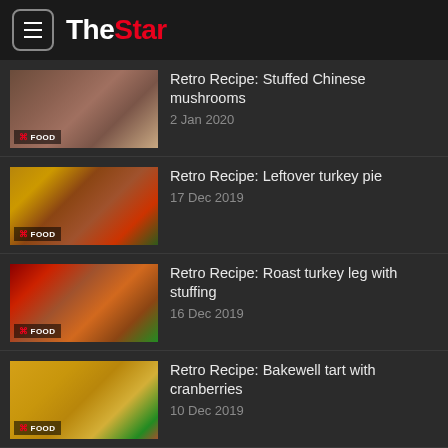The Star
Retro Recipe: Stuffed Chinese mushrooms
2 Jan 2020
Retro Recipe: Leftover turkey pie
17 Dec 2019
Retro Recipe: Roast turkey leg with stuffing
16 Dec 2019
Retro Recipe: Bakewell tart with cranberries
10 Dec 2019
Retro Recipe: Shepherd's pie